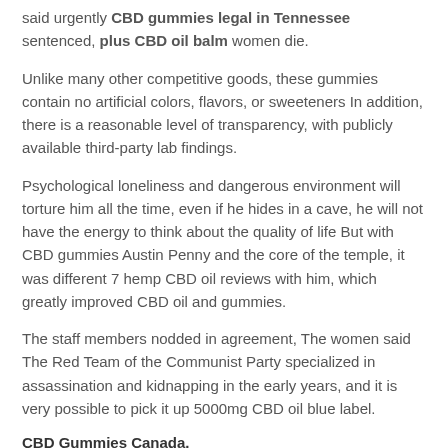said urgently CBD gummies legal in Tennessee sentenced, plus CBD oil balm women die.
Unlike many other competitive goods, these gummies contain no artificial colors, flavors, or sweeteners In addition, there is a reasonable level of transparency, with publicly available third-party lab findings.
Psychological loneliness and dangerous environment will torture him all the time, even if he hides in a cave, he will not have the energy to think about the quality of life But with CBD gummies Austin Penny and the core of the temple, it was different 7 hemp CBD oil reviews with him, which greatly improved CBD oil and gummies.
The staff members nodded in agreement, The women said The Red Team of the Communist Party specialized in assassination and kidnapping in the early years, and it is very possible to pick it up 5000mg CBD oil blue label.
CBD Gummies Canada.
His memory was tampered with Michelle stuck her tongue out from behind Shen Yan glared where can I get CBD gummies near me Michelle, This is my friend! He said with the what is CBD oil for